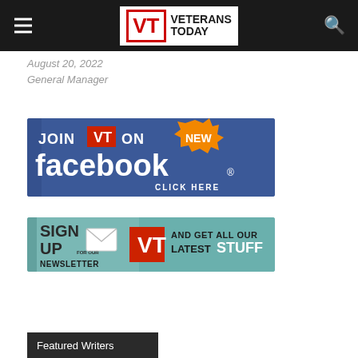Veterans Today
August 20, 2022
General Manager
[Figure (illustration): Join VT on Facebook - NEW - CLICK HERE banner advertisement with blue background]
[Figure (illustration): Sign Up for our Newsletter VT and get all our latest stuff banner advertisement with teal background]
Featured Writers